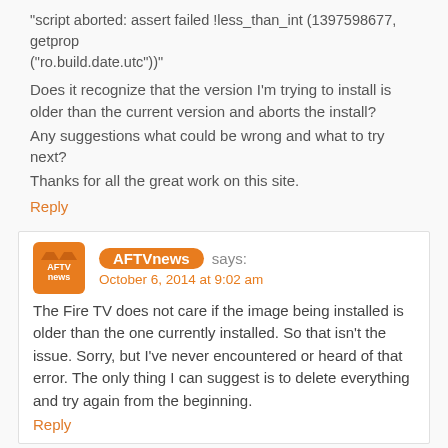“script aborted: assert failed !less_than_int (1397598677, getprop (“ro.build.date.utc”))”
Does it recognize that the version I’m trying to install is older than the current version and aborts the install?
Any suggestions what could be wrong and what to try next?
Thanks for all the great work on this site.
Reply
AFTVnews says:
October 6, 2014 at 9:02 am
The Fire TV does not care if the image being installed is older than the one currently installed. So that isn’t the issue. Sorry, but I’ve never encountered or heard of that error. The only thing I can suggest is to delete everything and try again from the beginning.
Reply
canada1 says: